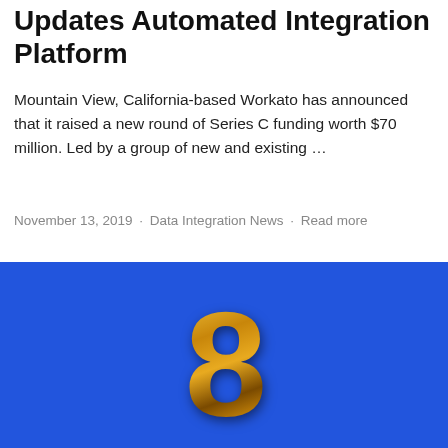Updates Automated Integration Platform
Mountain View, California-based Workato has announced that it raised a new round of Series C funding worth $70 million. Led by a group of new and existing …
November 13, 2019 · Data Integration News · Read more
[Figure (photo): Gold metallic number 8 on a bright blue background]